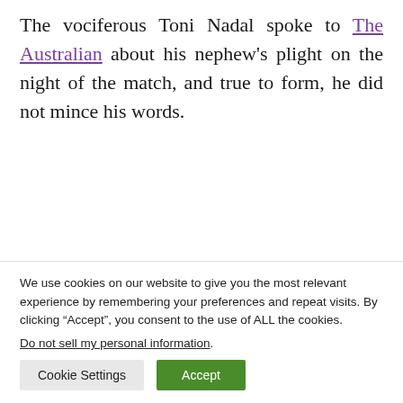The vociferous Toni Nadal spoke to The Australian about his nephew's plight on the night of the match, and true to form, he did not mince his words.
“Just my opinion, but I don’t think the crowd should be doing this.
We use cookies on our website to give you the most relevant experience by remembering your preferences and repeat visits. By clicking “Accept”, you consent to the use of ALL the cookies.
Do not sell my personal information.